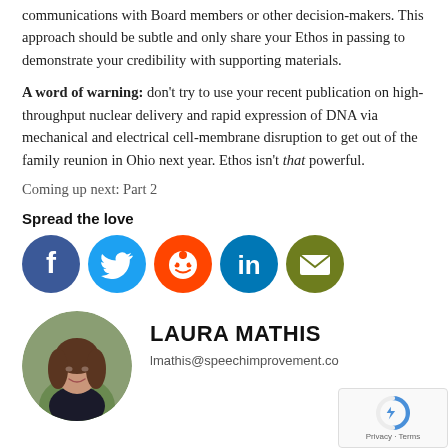communications with Board members or other decision-makers. This approach should be subtle and only share your Ethos in passing to demonstrate your credibility with supporting materials.
A word of warning: don't try to use your recent publication on high-throughput nuclear delivery and rapid expression of DNA via mechanical and electrical cell-membrane disruption to get out of the family reunion in Ohio next year. Ethos isn't that powerful.
Coming up next: Part 2
Spread the love
[Figure (infographic): Social media sharing icons: Facebook (dark blue circle), Twitter (blue circle), Reddit (orange circle), LinkedIn (teal circle), Email (olive/green circle)]
[Figure (photo): Circular headshot photo of Laura Mathis, a woman with long brown hair]
LAURA MATHIS
lmathis@speechimprovement.co